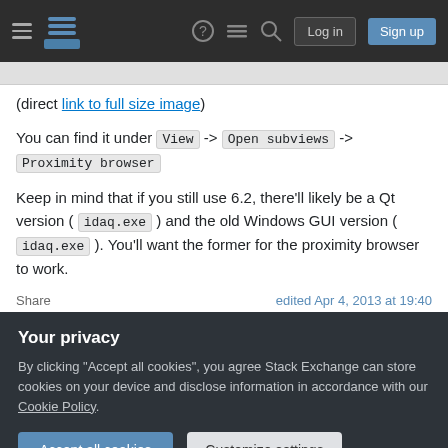Stack Exchange navigation bar with hamburger menu, logo, help, chat, search icons, Log in and Sign up buttons
(direct link to full size image)
You can find it under View -> Open subviews -> Proximity browser
Keep in mind that if you still use 6.2, there'll likely be a Qt version ( idaq.exe ) and the old Windows GUI version ( idaq.exe ). You'll want the former for the proximity browser to work.
Share   edited Apr 4, 2013 at 19:40
Your privacy
By clicking "Accept all cookies", you agree Stack Exchange can store cookies on your device and disclose information in accordance with our Cookie Policy.
Accept all cookies   Customize settings
I know this is the Wingraph32, the title of the window in